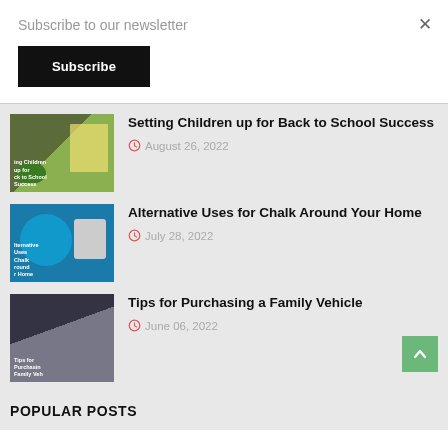Subscribe to our newsletter
Subscribe
×
Setting Children up for Back to School Success
August 26, 2022
Alternative Uses for Chalk Around Your Home
July 28, 2022
Tips for Purchasing a Family Vehicle
June 06, 2022
POPULAR POSTS